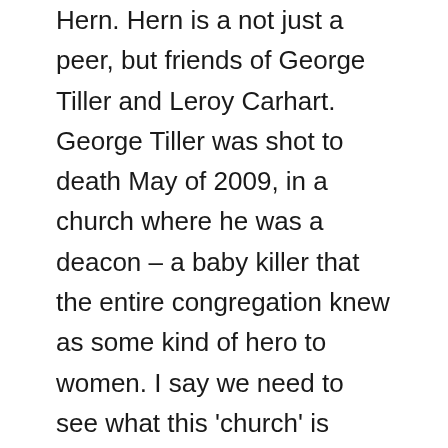Hern. Hern is a not just a peer, but friends of George Tiller and Leroy Carhart. George Tiller was shot to death May of 2009, in a church where he was a deacon – a baby killer that the entire congregation knew as some kind of hero to women. I say we need to see what this 'church' is teaching…
A statement I read today said that less than 1% of all abortions are considered late-term abortions – a common fallacy. Of course that does depend on how a person or government defines late-term abortion. These are truer numbers: 4.2% from 16 to 20 weeks, and 1.4% at or after 21 weeks; after